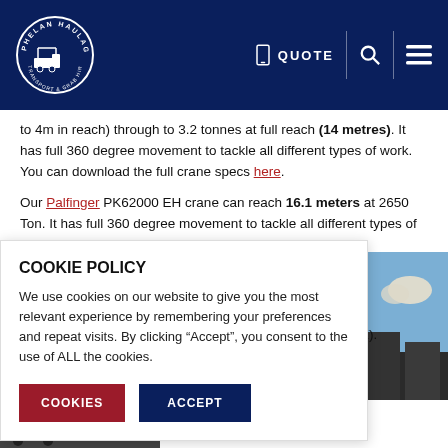[Figure (logo): Phelan Haulage Transport & Grab Hire circular logo in white on dark navy header, with navigation icons for QUOTE, search, and hamburger menu]
to 4m in reach) through to 3.2 tonnes at full reach (14 metres). It has full 360 degree movement to tackle all different types of work. You can download the full crane specs here.
Our Palfinger PK62000 EH crane can reach 16.1 meters at 2650 Ton. It has full 360 degree movement to tackle all different types of work. You ...E).
COOKIE POLICY
We use cookies on our website to give you the most relevant experience by remembering your preferences and repeat visits. By clicking “Accept”, you consent to the use of ALL the cookies.
[Figure (photo): Partial photo on right side showing blue sky with clouds and building/crane structure below]
[Figure (photo): Partial photo at bottom left corner showing red vehicle/truck and people]